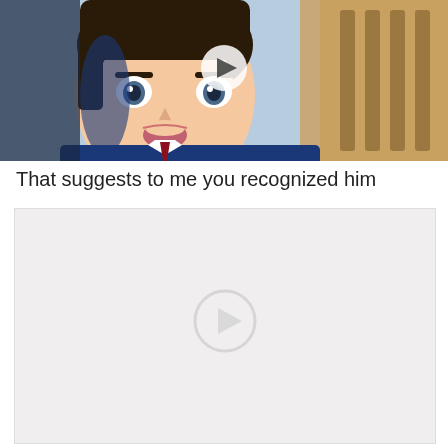[Figure (screenshot): Anime screenshot of a young male character in a blue suit and red tie with an alarmed/surprised expression, mouth open. Background shows what appears to be a courtroom interior. A circular play button overlay is visible in the center of the image.]
That suggests to me you recognized him
[Figure (screenshot): A mostly blank/white video thumbnail placeholder with a faint circular play button icon in the center.]